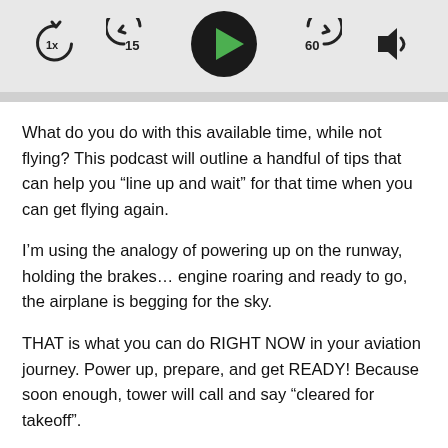[Figure (screenshot): Podcast player controls bar showing: 1x speed button, rewind 15 seconds button, play button (large black circle with green triangle), fast forward 60 seconds button, and volume/speaker button]
What do you do with this available time, while not flying? This podcast will outline a handful of tips that can help you “line up and wait” for that time when you can get flying again.
I’m using the analogy of powering up on the runway, holding the brakes… engine roaring and ready to go, the airplane is begging for the sky.
THAT is what you can do RIGHT NOW in your aviation journey. Power up, prepare, and get READY! Because soon enough, tower will call and say “cleared for takeoff”.
What can you do now to prepare for that launch?